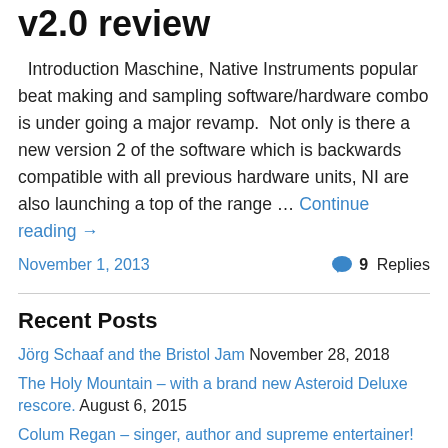v2.0 review
Introduction Maschine, Native Instruments popular beat making and sampling software/hardware combo is under going a major revamp.  Not only is there a new version 2 of the software which is backwards compatible with all previous hardware units, NI are also launching a top of the range … Continue reading →
November 1, 2013   9 Replies
Recent Posts
Jörg Schaaf and the Bristol Jam November 28, 2018
The Holy Mountain – with a brand new Asteroid Deluxe rescore. August 6, 2015
Colum Regan – singer, author and supreme entertainer! July 28, 2015